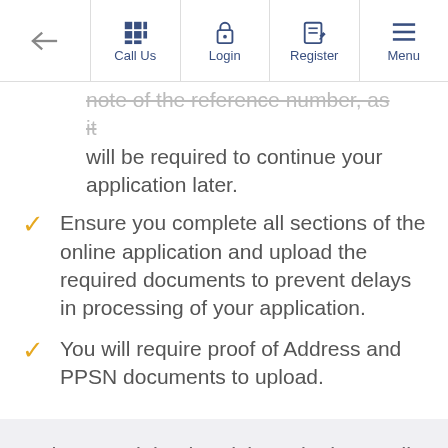← Call Us | Login | Register | Menu
note of the reference number, as it will be required to continue your application later.
Ensure you complete all sections of the online application and upload the required documents to prevent delays in processing of your application.
You will require proof of Address and PPSN documents to upload.
When you join Limerick & District Credit Union you become a Member and not a customer. This is an extremely important difference as it means you are a part owner of the Credit Union